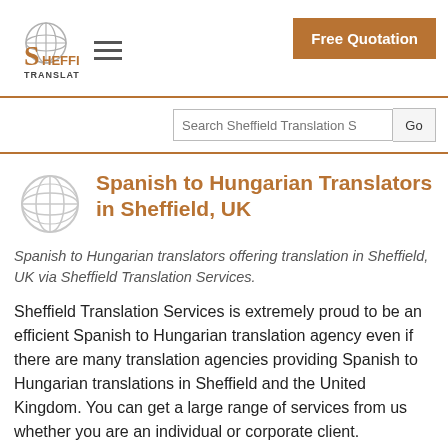Sheffield Translation — Free Quotation
Spanish to Hungarian Translators in Sheffield, UK
Spanish to Hungarian translators offering translation in Sheffield, UK via Sheffield Translation Services.
Sheffield Translation Services is extremely proud to be an efficient Spanish to Hungarian translation agency even if there are many translation agencies providing Spanish to Hungarian translations in Sheffield and the United Kingdom. You can get a large range of services from us whether you are an individual or corporate client.
For the...